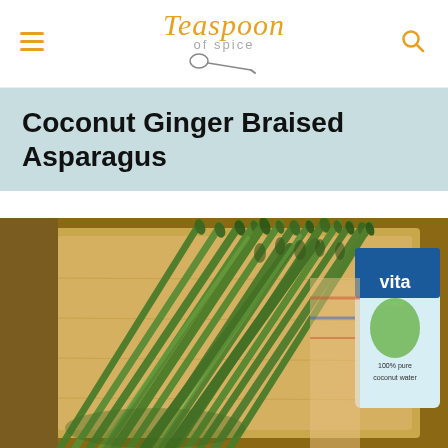Teaspoon of Spice — navigation header with hamburger menu and search icon
Coconut Ginger Braised Asparagus
[Figure (photo): Fresh asparagus spears laid out on a wooden cutting board, with a carton of coconut water visible in the background right side. The asparagus is bright green and bundled together.]